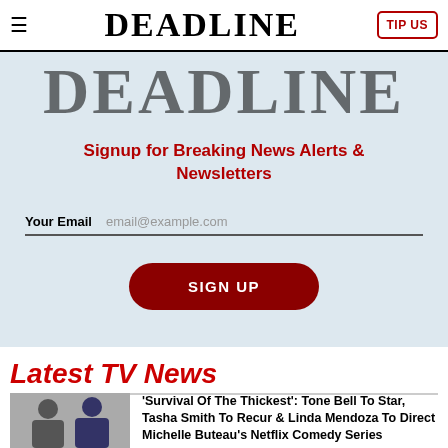☰  DEADLINE  TIP US
[Figure (logo): Large DEADLINE watermark text in dark/grey at top of signup banner]
Signup for Breaking News Alerts & Newsletters
Your Email  email@example.com
SIGN UP
Latest TV News
[Figure (photo): Two people (man and woman) photo thumbnail for TV news article]
'Survival Of The Thickest': Tone Bell To Star, Tasha Smith To Recur & Linda Mendoza To Direct Michelle Buteau's Netflix Comedy Series